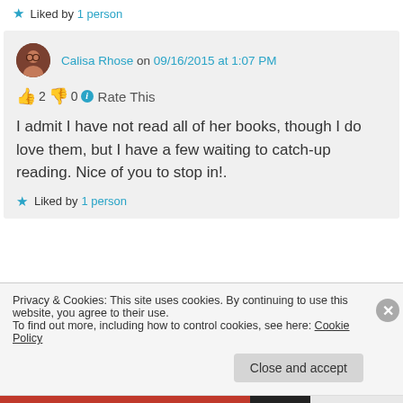★ Liked by 1 person
Calisa Rhose on 09/16/2015 at 1:07 PM
👍 2 👎 0 ℹ Rate This
I admit I have not read all of her books, though I do love them, but I have a few waiting to catch-up reading. Nice of you to stop in!.
★ Liked by 1 person
Privacy & Cookies: This site uses cookies. By continuing to use this website, you agree to their use.
To find out more, including how to control cookies, see here: Cookie Policy